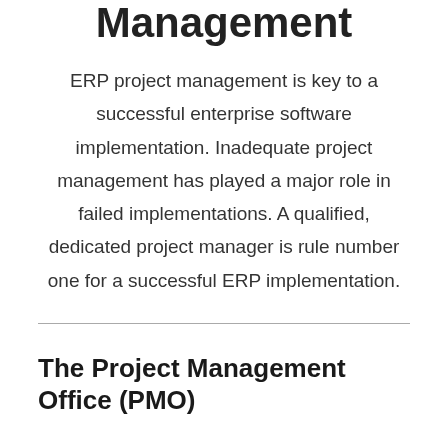Management
ERP project management is key to a successful enterprise software implementation. Inadequate project management has played a major role in failed implementations. A qualified, dedicated project manager is rule number one for a successful ERP implementation.
The Project Management Office (PMO)